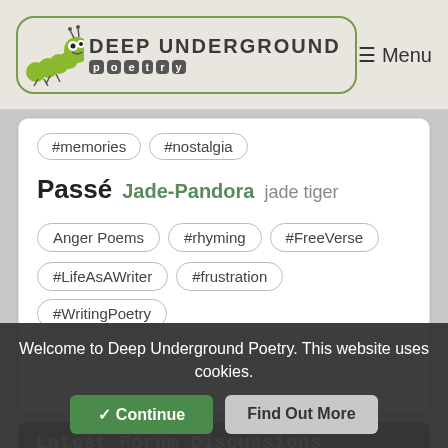[Figure (logo): Deep Underground Poetry logo with caterpillar mascot and letter tiles spelling 'poetry']
≡ Menu
#memories
#nostalgia
Passé Jade-Pandora jade tiger
Anger Poems
#rhyming
#FreeVerse
#LifeAsAWriter
#frustration
#WritingPoetry
Latest Forum Discussions
SPEAKEASY The Politics Place
Today 3:29pm by Carpe_Noctem
SPEAKEASY Have You Ever ~ Part III
Today 3:28pm by Wafflenose
SPEAKEASY Would You Rather II
Today 3:25pm by Wafflen...
SPEAKEASY So, how are we all...
Welcome to Deep Underground Poetry. This website uses cookies.
✓ Continue
Find Out More